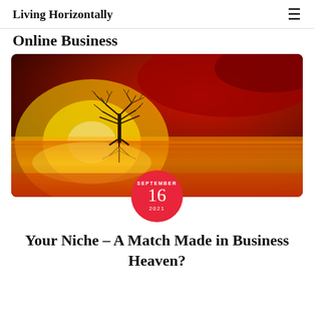Living Horizontally
Online Business
[Figure (illustration): A lone bare tree standing in reflective water against a dramatic orange and red sunset sky, with a circular red date badge overlay showing SEPTEMBER 16 2021]
Your Niche – A Match Made in Business Heaven?